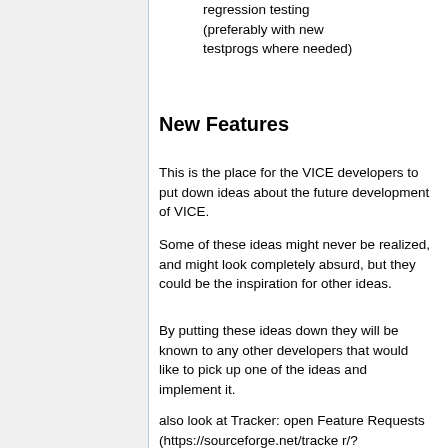regression testing (preferably with new testprogs where needed)
New Features
This is the place for the VICE developers to put down ideas about the future development of VICE.
Some of these ideas might never be realized, and might look completely absurd, but they could be the inspiration for other ideas.
By putting these ideas down they will be known to any other developers that would like to pick up one of the ideas and implement it.
also look at Tracker: open Feature Requests (https://sourceforge.net/tracker/?limit=100&func=&group_id=223021&atid=1057620&assignee=&status=1&category=&artgroup=&keyword=&submitter=&artifact_id=&assignee=&status=1&category=&artgroup=&submitter=&keyword=